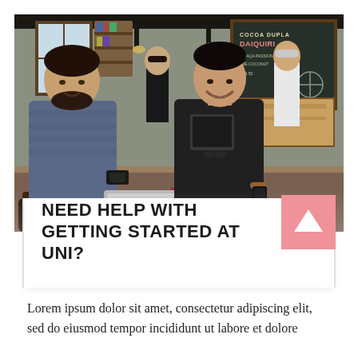[Figure (photo): Two young men sitting in a modern café or co-working space, smiling and conversing. One holds a phone, the other sits near a laptop. Background shows other people working, wooden furniture, shelves, a window, and a chalkboard menu on the right wall.]
NEED HELP WITH GETTING STARTED AT UNI?
Lorem ipsum dolor sit amet, consectetur adipiscing elit, sed do eiusmod tempor incididunt ut labore et dolore